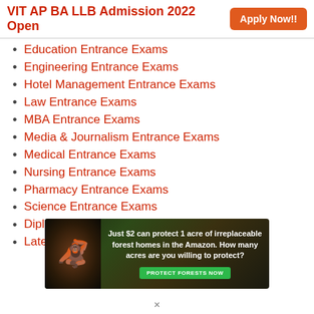VIT AP BA LLB Admission 2022 Open   Apply Now!!
Education Entrance Exams
Engineering Entrance Exams
Hotel Management Entrance Exams
Law Entrance Exams
MBA Entrance Exams
Media & Journalism Entrance Exams
Medical Entrance Exams
Nursing Entrance Exams
Pharmacy Entrance Exams
Science Entrance Exams
Diploma & Polytechnic
Lateral Entry
[Figure (infographic): Advertisement banner: dark forest background with an orangutan image. Text reads: 'Just $2 can protect 1 acre of irreplaceable forest homes in the Amazon. How many acres are you willing to protect?' with a green 'PROTECT FORESTS NOW' button.]